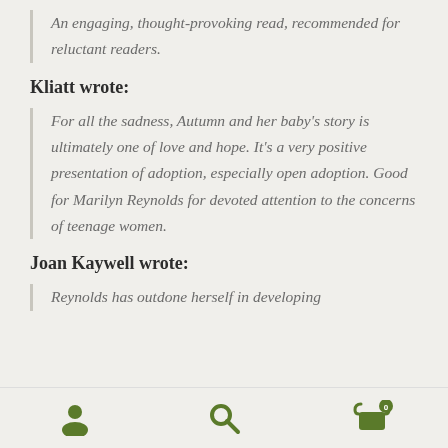An engaging, thought-provoking read, recommended for reluctant readers.
Kliatt wrote:
For all the sadness, Autumn and her baby's story is ultimately one of love and hope. It's a very positive presentation of adoption, especially open adoption. Good for Marilyn Reynolds for devoted attention to the concerns of teenage women.
Joan Kaywell wrote:
Reynolds has outdone herself in developing
[Figure (infographic): Bottom navigation bar with user/account icon, search icon, and shopping cart icon with badge showing 0]